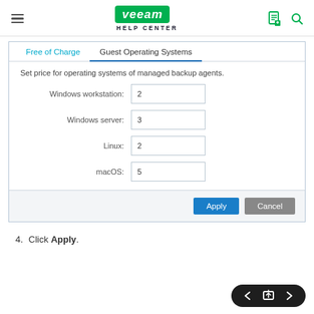VEEAM HELP CENTER
[Figure (screenshot): Veeam Help Center dialog screenshot showing 'Guest Operating Systems' tab selected with form fields: Windows workstation: 2, Windows server: 3, Linux: 2, macOS: 5, and Apply/Cancel buttons]
4. Click Apply.